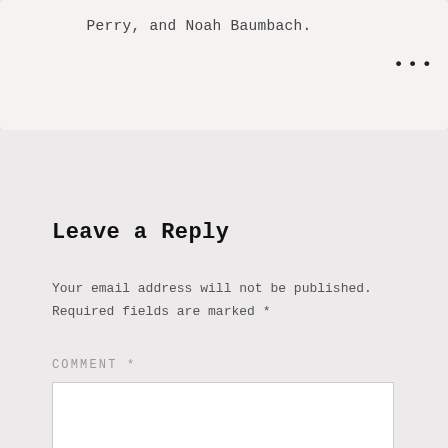Perry, and Noah Baumbach.
Leave a Reply
Your email address will not be published. Required fields are marked *
COMMENT *